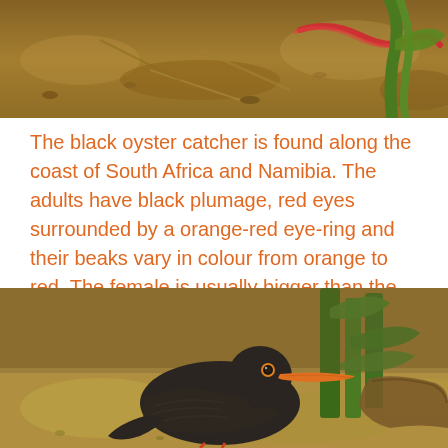[Figure (photo): Top portion of a nature photo showing sandy ground with a red worm and green plant stem/leaf visible]
The black oyster catcher is found along the coast of South Africa and Namibia. The adults have black plumage, red eyes surrounded by a orange-red eye-ring and their beaks vary in colour from orange to red. The female is usually bigger than the male. Their diet consists of mussels, worms and other small crustaceans
[Figure (photo): Photo of a black oystercatcher bird with dark black plumage, orange beak, and yellow eye, standing on sandy ground with green plants and driftwood in the background]